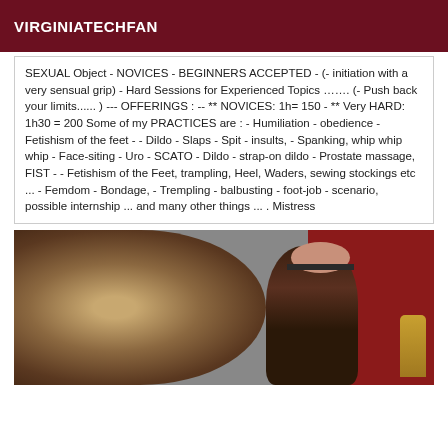VIRGINIATECHFAN
SEXUAL Object - NOVICES - BEGINNERS ACCEPTED - (- initiation with a very sensual grip) - Hard Sessions for Experienced Topics ……. (- Push back your limits...... ) --- OFFERINGS : -- ** NOVICES: 1h= 150 - ** Very HARD: 1h30 = 200 Some of my PRACTICES are : - Humiliation - obedience - Fetishism of the feet - - Dildo - Slaps - Spit - insults, - Spanking, whip whip whip - Face-siting - Uro - SCATO - Dildo - strap-on dildo - Prostate massage, FIST - - Fetishism of the Feet, trampling, Heel, Waders, sewing stockings etc ... - Femdom - Bondage, - Trempling - balbusting - foot-job - scenario, possible internship ... and many other things ... . Mistress
[Figure (photo): A person wearing a dark fur coat seated near red curtains, with a gold decorative object visible on the right side. The person's eyes are obscured.]